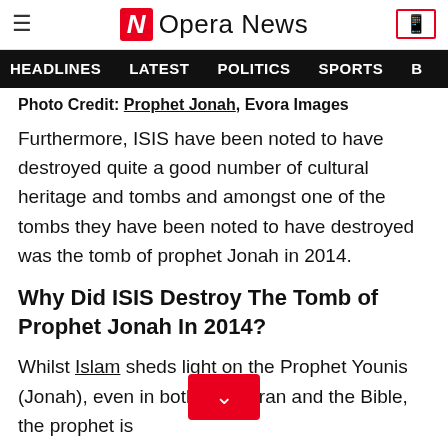Opera News
HEADLINES   LATEST   POLITICS   SPORTS
Photo Credit: Prophet Jonah, Evora Images
Furthermore, ISIS have been noted to have destroyed quite a good number of cultural heritage and tombs and amongst one of the tombs they have been noted to have destroyed was the tomb of prophet Jonah in 2014.
Why Did ISIS Destroy The Tomb of Prophet Jonah In 2014?
Whilst Islam sheds light on the Prophet Younis (Jonah), even in both the Quran and the Bible, the prophet is